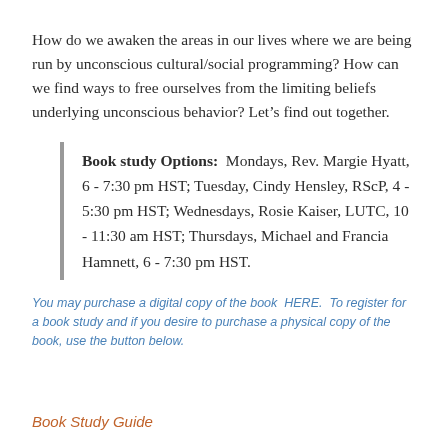How do we awaken the areas in our lives where we are being run by unconscious cultural/social programming? How can we find ways to free ourselves from the limiting beliefs underlying unconscious behavior? Let’s find out together.
Book study Options: Mondays, Rev. Margie Hyatt, 6 - 7:30 pm HST; Tuesday, Cindy Hensley, RScP, 4 - 5:30 pm HST; Wednesdays, Rosie Kaiser, LUTC, 10 - 11:30 am HST; Thursdays, Michael and Francia Hamnett, 6 - 7:30 pm HST.
You may purchase a digital copy of the book HERE. To register for a book study and if you desire to purchase a physical copy of the book, use the button below.
Book Study Guide